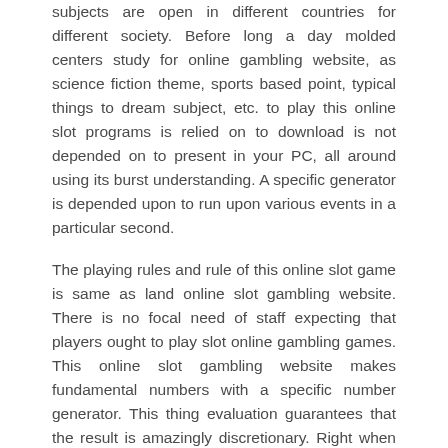subjects are open in different countries for different society. Before long a day molded centers study for online gambling website, as science fiction theme, sports based point, typical things to dream subject, etc. to play this online slot programs is relied on to download is not depended on to present in your PC, all around using its burst understanding. A specific generator is depended upon to run upon various events in a particular second.
The playing rules and rule of this online slot game is same as land online slot gambling website. There is no focal need of staff expecting that players ought to play slot online gambling games. This online slot gambling website makes fundamental numbers with a specific number generator. This thing evaluation guarantees that the result is amazingly discretionary. Right when one individual press any catch then it unequivocally sort out what is the yield and the thing is its pursuing stage. There are shown various outcomes for each time. For playing this online slot game players need to invest five coins at asking effort and soon players are see five cards. As this match is a draw then the players get a potential chance to change their hands. Happening to picking the last card, press the game philosophy key and the website unstuck by new